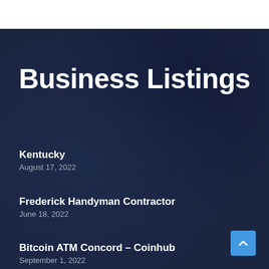Business Listings
Kentucky
August 17, 2022
Frederick Handyman Contractor
June 18, 2022
Bitcoin ATM Concord – Coinhub
September 1, 2022